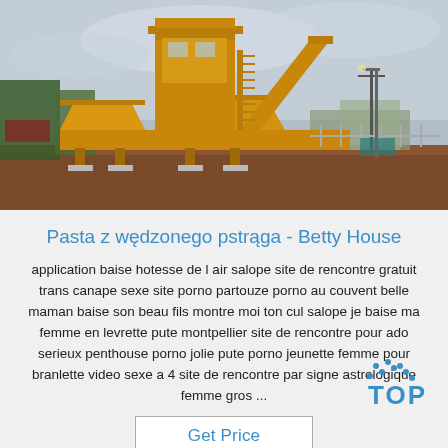[Figure (photo): Large yellow industrial concrete batching plant / construction equipment on a dirt lot with trees and a building in the background under a cloudy sky.]
Pasta z wędzonego pstrąga - Betty House
application baise hotesse de l air salope site de rencontre gratuit trans canape sexe site porno partouze porno au couvent belle maman baise son beau fils montre moi ton cul salope je baise ma femme en levrette pute montpellier site de rencontre pour ado serieux penthouse porno jolie pute porno jeunette femme pour branlette video sexe a 4 site de rencontre par signe astrologique femme gros ...
Get Price